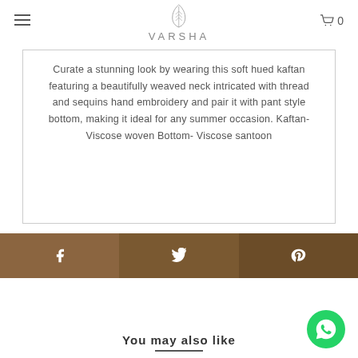VARSHA
Curate a stunning look by wearing this soft hued kaftan featuring a beautifully weaved neck intricated with thread and sequins hand embroidery and pair it with pant style bottom, making it ideal for any summer occasion. Kaftan- Viscose woven Bottom- Viscose santoon
[Figure (infographic): Social share bar with Facebook, Twitter, and Pinterest buttons in brown tones]
[Figure (infographic): WhatsApp floating action button (green circle with WhatsApp logo)]
You may also like